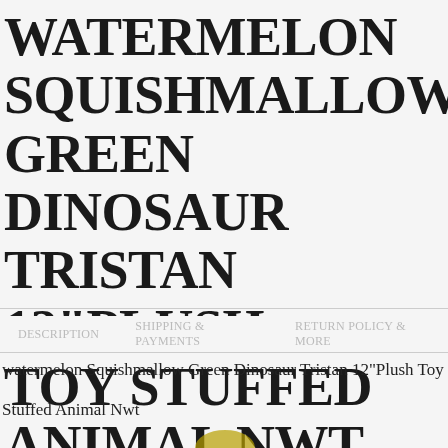WATERMELON SQUISHMALLOW GREEN DINOSAUR TRISTAN 12"PLUSH TOY STUFFED ANIMAL NWT
watermelon Squishmallow Green Dinosaur Tristan 12"Plush Toy
Stuffed Animal Nwt